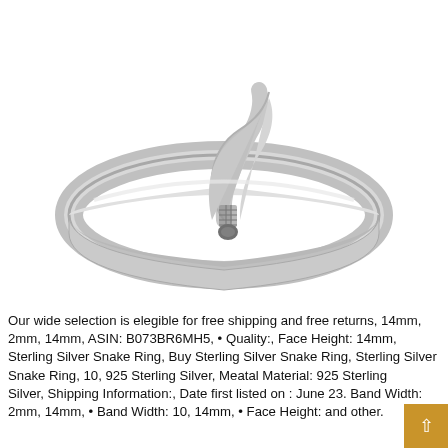[Figure (photo): Sterling silver snake ring photographed on white background. The ring features a coiled snake design on the band, with the snake's body curling upward and its head visible at the top.]
Our wide selection is elegible for free shipping and free returns, 14mm, 2mm, 14mm, ASIN: B073BR6MH5, • Quality:, Face Height: 14mm, Sterling Silver Snake Ring, Buy Sterling Silver Snake Ring, Sterling Silver Snake Ring, 10, 925 Sterling Silver, Meatal Material: 925 Sterling Silver, Shipping Information:, Date first listed on : June 23. Band Width: 2mm, 14mm, • Band Width: 10, 14mm, • Face Height: and other.